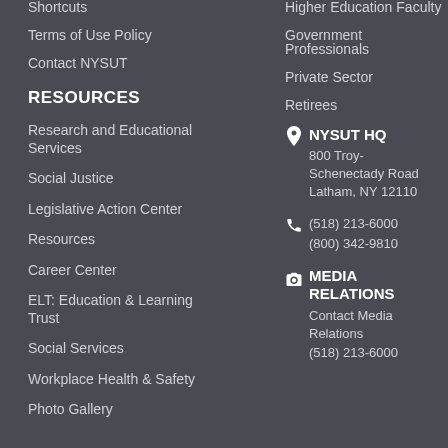Shortcuts
Terms of Use Policy
Contact NYSUT
Higher Education Faculty
Government Professionals
Private Sector
Retirees
RESOURCES
Research and Educational Services
Social Justice
Legislative Action Center
Resources
Career Center
ELT: Education & Learning Trust
Social Services
Workplace Health & Safety
Photo Gallery
NYSUT HQ
800 Troy-Schenectady Road Latham, NY 12110
(518) 213-6000
(800) 342-9810
MEDIA RELATIONS
Contact Media Relations
(518) 213-6000